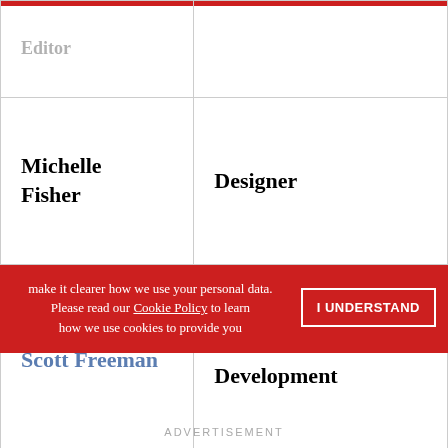| Name | Role |
| --- | --- |
|  |  |
| Michelle Fisher | Designer |
| Scott Freeman | Director of Web Development |
| Senior... | ...Director of S... |
make it clearer how we use your personal data. Please read our Cookie Policy to learn how we use cookies to provide you
I UNDERSTAND
ADVERTISEMENT